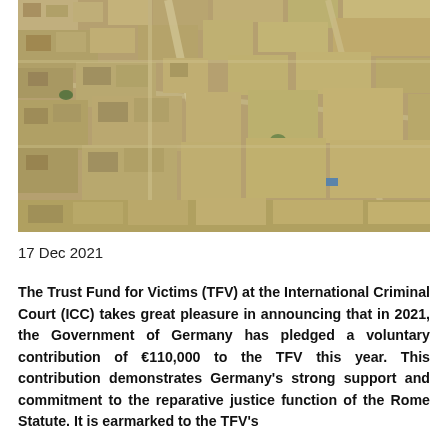[Figure (photo): Aerial view of a dense urban settlement with mud-brick buildings, narrow streets, and dusty terrain, likely in Mali or a similar West African region.]
17 Dec 2021
The Trust Fund for Victims (TFV) at the International Criminal Court (ICC) takes great pleasure in announcing that in 2021, the Government of Germany has pledged a voluntary contribution of €110,000 to the TFV this year. This contribution demonstrates Germany's strong support and commitment to the reparative justice function of the Rome Statute. It is earmarked to the TFV's